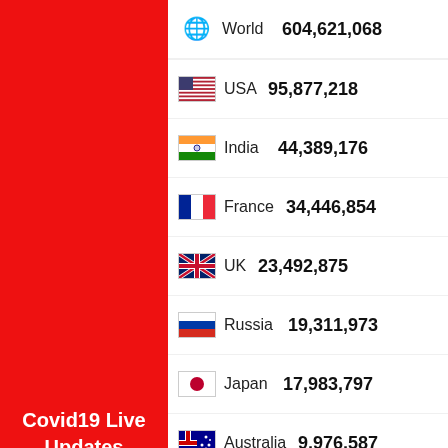Covid19 Live Updates
[Figure (infographic): Covid19 Live Updates infographic showing country-wise case counts with flags: World 604,621,068; USA 95,877,218; India 44,389,176; France 34,446,854; UK 23,492,875; Russia 19,311,973; Japan 17,983,797; Australia 9,976,587; Indonesia 6,338,906; Malaysia 4,771,512; Singapore 1,829,361; UAE 1,012,786; Saudi Arabia 813,042; China 241,348]
least two weeks when the situation will be discussed further.
International travelers should be fully vaccinated, be tested negative for COVID-19 with a PCR test and obtain an affidavit and a medical insurance plan covering COVID-19 and a